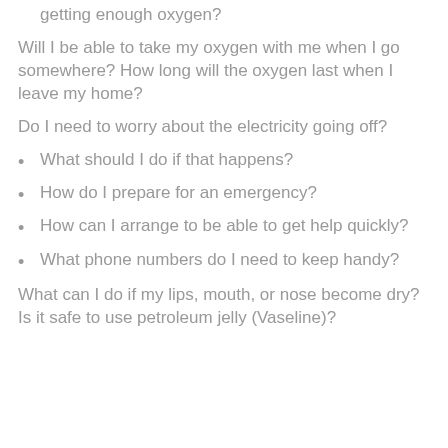getting enough oxygen?
Will I be able to take my oxygen with me when I go somewhere? How long will the oxygen last when I leave my home?
Do I need to worry about the electricity going off?
What should I do if that happens?
How do I prepare for an emergency?
How can I arrange to be able to get help quickly?
What phone numbers do I need to keep handy?
What can I do if my lips, mouth, or nose become dry? Is it safe to use petroleum jelly (Vaseline)?